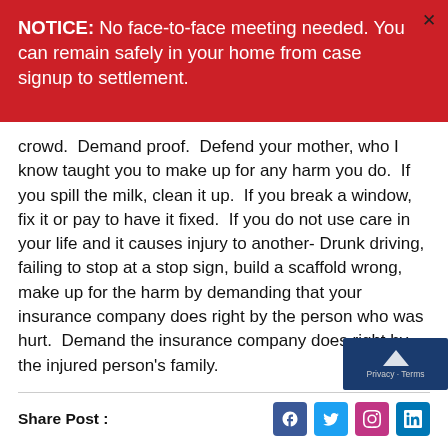NOTICE: No face-to-face meeting needed. You can remain safely in your home from case signup to settlement.
crowd.  Demand proof.  Defend your mother, who I know taught you to make up for any harm you do.  If you spill the milk, clean it up.  If you break a window, fix it or pay to have it fixed.  If you do not use care in your life and it causes injury to another- Drunk driving, failing to stop at a stop sign, build a scaffold wrong, make up for the harm by demanding that your insurance company does right by the person who was hurt.  Demand the insurance company does right by the injured person's family.
Share Post :